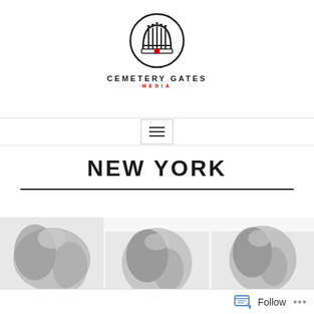[Figure (logo): Cemetery Gates Media logo: circular emblem with gate/arch design in black with red detail, text 'CEMETERY GATES' in black uppercase bold and 'MEDIA' in red uppercase below]
[Figure (other): Hamburger menu icon inside a bordered box]
NEW YORK
[Figure (photo): Three greyscale/dark photographic images arranged horizontally showing dark blurry figures or scenes]
Follow ...